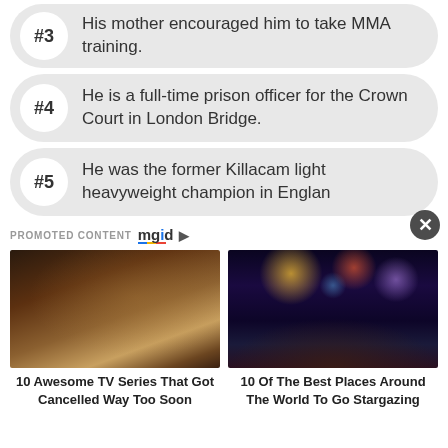#3 His mother encouraged him to take MMA training.
#4 He is a full-time prison officer for the Crown Court in London Bridge.
#5 He was the former Killacam light heavyweight champion in England
PROMOTED CONTENT mgid
[Figure (photo): Two people in a dramatic romantic scene, appears to be from a TV show set in historical period]
[Figure (photo): Two people kissing with fireworks in the background]
10 Awesome TV Series That Got Cancelled Way Too Soon
10 Of The Best Places Around The World To Go Stargazing